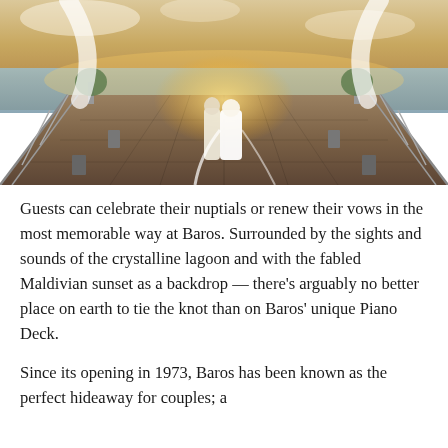[Figure (photo): A couple standing at the end of a wooden over-water deck at sunset, with white draping fabric, tall lanterns lining the sides, floral arrangements on pedestals, and the ocean horizon in the background. The bride is in a white gown and the groom in light clothing.]
Guests can celebrate their nuptials or renew their vows in the most memorable way at Baros. Surrounded by the sights and sounds of the crystalline lagoon and with the fabled Maldivian sunset as a backdrop — there's arguably no better place on earth to tie the knot than on Baros' unique Piano Deck.
Since its opening in 1973, Baros has been known as the perfect hideaway for couples; a